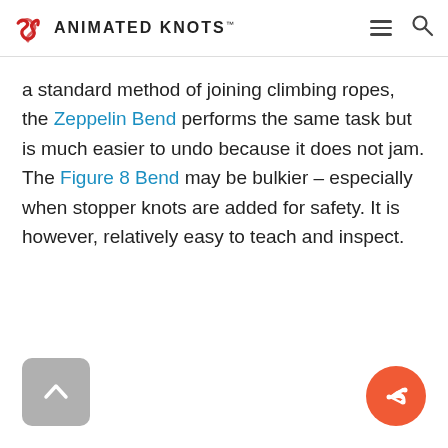ANIMATED KNOTS
a standard method of joining climbing ropes, the Zeppelin Bend performs the same task but is much easier to undo because it does not jam. The Figure 8 Bend may be bulkier – especially when stopper knots are added for safety. It is however, relatively easy to teach and inspect.